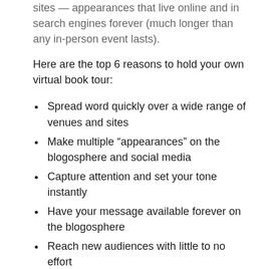sites &mdash; appearances that live online and in search engines forever (much longer than any in-person event lasts).
Here are the top 6 reasons to hold your own virtual book tour:
Spread word quickly over a wide range of venues and sites
Make multiple “appearances” on the blogosphere and social media
Capture attention and set your tone instantly
Have your message available forever on the blogosphere
Reach new audiences with little to no effort
Open the door to follow-up book reviews and interviews
If you’re too busy to put together your own virtual book